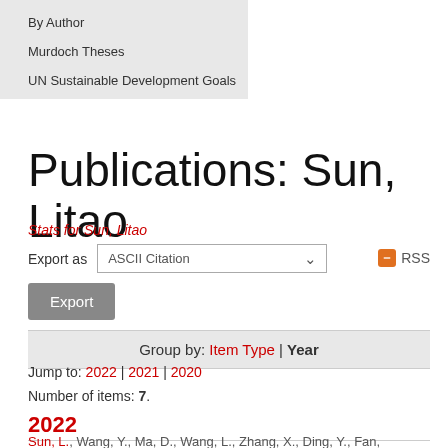By Author
Murdoch Theses
UN Sustainable Development Goals
Publications: Sun, Litao
Stats for Sun, Litao
Export as  ASCII Citation
RSS
Export
Group by: Item Type | Year
Jump to: 2022 | 2021 | 2020
Number of items: 7.
2022
Sun, L., Wang, Y., Ma, D., Wang, L., Zhang, X., Ding, Y., Fan, K., Xu, Z., Yuan, C., Jia, H., Ren, X. and Ding, Z. (2022)